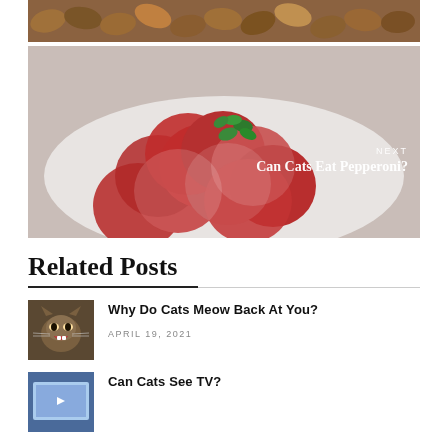[Figure (photo): Close-up photo of almonds — brown nuts filling the frame]
[Figure (photo): Sliced pepperoni arranged on a white plate with a sprig of green herbs; overlaid text reads NEXT / Can Cats Eat Pepperoni?]
Related Posts
Why Do Cats Meow Back At You?
APRIL 19, 2021
Can Cats See TV?